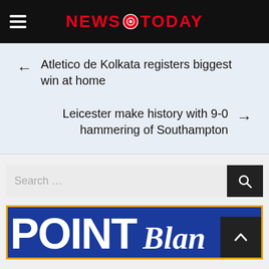NEWS TODAY
← Atletico de Kolkata registers biggest win at home
Leicester make history with 9-0 hammering of Southampton →
Search …
[Figure (logo): Point Blank logo on blue background with orange border]